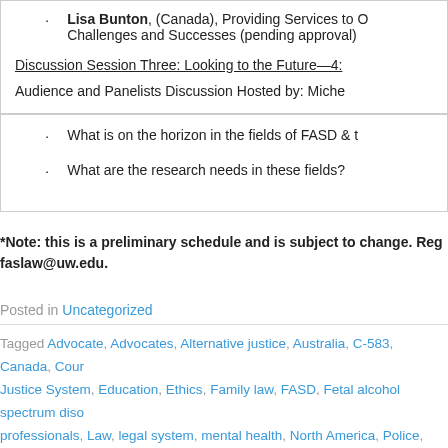Lisa Bunton, (Canada), Providing Services to O... Challenges and Successes (pending approval)
Discussion Session Three: Looking to the Future—4:
Audience and Panelists Discussion Hosted by: Miche
What is on the horizon in the fields of FASD & t
What are the research needs in these fields?
*Note: this is a preliminary schedule and is subject to change. Reg... faslaw@uw.edu.
Posted in Uncategorized
Tagged Advocate, Advocates, Alternative justice, Australia, C-583, Canada, Cour... Justice System, Education, Ethics, Family law, FASD, Fetal alcohol spectrum diso... professionals, Law, legal system, mental health, North America, Police, Policing